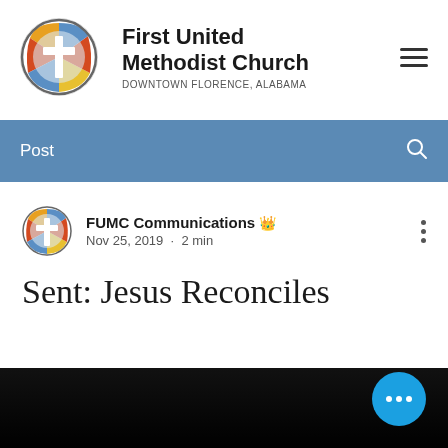[Figure (logo): First United Methodist Church logo: circular stained glass window with a white cross]
First United Methodist Church
DOWNTOWN FLORENCE, ALABAMA
Post
[Figure (logo): Small circular FUMC logo avatar]
FUMC Communications 👑
Nov 25, 2019 · 2 min
Sent: Jesus Reconciles
[Figure (photo): Dark/black image at bottom of page, partially visible]